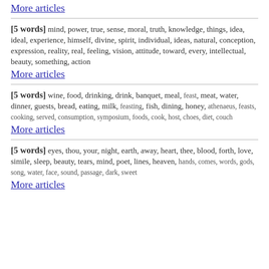More articles
[5 words] mind, power, true, sense, moral, truth, knowledge, things, idea, ideal, experience, himself, divine, spirit, individual, ideas, natural, conception, expression, reality, real, feeling, vision, attitude, toward, every, intellectual, beauty, something, action
More articles
[5 words] wine, food, drinking, drink, banquet, meal, feast, meat, water, dinner, guests, bread, eating, milk, feasting, fish, dining, honey, athenaeus, feasts, cooking, served, consumption, symposium, foods, cook, host, choes, diet, couch
More articles
[5 words] eyes, thou, your, night, earth, away, heart, thee, blood, forth, love, simile, sleep, beauty, tears, mind, poet, lines, heaven, hands, comes, words, gods, song, water, face, sound, passage, dark, sweet
More articles